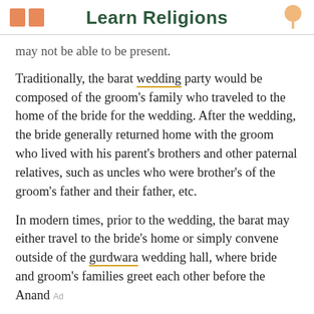Learn Religions
may not be able to be present.
Traditionally, the barat wedding party would be composed of the groom's family who traveled to the home of the bride for the wedding. After the wedding, the bride generally returned home with the groom who lived with his parent's brothers and other paternal relatives, such as uncles who were brother's of the groom's father and their father, etc.
In modern times, prior to the wedding, the barat may either travel to the bride's home or simply convene outside of the gurdwara wedding hall, where bride and groom's families greet each other before the Anand